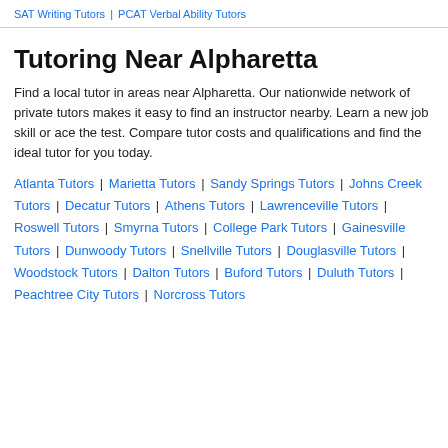SAT Writing Tutors | PCAT Verbal Ability Tutors
Tutoring Near Alpharetta
Find a local tutor in areas near Alpharetta. Our nationwide network of private tutors makes it easy to find an instructor nearby. Learn a new job skill or ace the test. Compare tutor costs and qualifications and find the ideal tutor for you today.
Atlanta Tutors | Marietta Tutors | Sandy Springs Tutors | Johns Creek Tutors | Decatur Tutors | Athens Tutors | Lawrenceville Tutors | Roswell Tutors | Smyrna Tutors | College Park Tutors | Gainesville Tutors | Dunwoody Tutors | Snellville Tutors | Douglasville Tutors | Woodstock Tutors | Dalton Tutors | Buford Tutors | Duluth Tutors | Peachtree City Tutors | Norcross Tutors